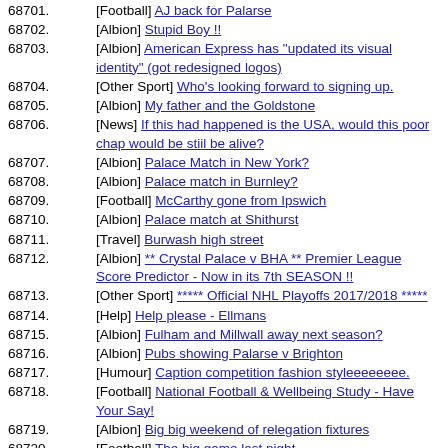68701. [Football] AJ back for Palarse
68702. [Albion] Stupid Boy !!
68703. [Albion] American Express has "updated its visual identity" (got redesigned logos)
68704. [Other Sport] Who's looking forward to signing up.
68705. [Albion] My father and the Goldstone
68706. [News] If this had happened is the USA, would this poor chap would be stiil be alive?
68707. [Albion] Palace Match in New York?
68708. [Albion] Palace match in Burnley?
68709. [Football] McCarthy gone from Ipswich
68710. [Albion] Palace match at Shithurst
68711. [Travel] Burwash high street
68712. [Albion] ** Crystal Palace v BHA ** Premier League Score Predictor - Now in its 7th SEASON !!
68713. [Other Sport] ***** Official NHL Playoffs 2017/2018 *****
68714. [Help] Help please - Ellmans
68715. [Albion] Fulham and Millwall away next season?
68716. [Albion] Pubs showing Palarse v Brighton
68717. [Humour] Caption competition fashion styleeeeeeee.
68718. [Football] National Football & Wellbeing Study - Have Your Say!
68719. [Albion] Big big weekend of relegation fixtures
68720. [Football] The big game last night
68721. [Albion] Albion v Doncaster Rovers 22/4/18
68722. [Other Sport] Elderly drivers.
68723. [Politics] The Most useful things in a post apocalyptic world
68724. [Albion] Brighton U18 4 Swansea U18 0
68725. [Travel] video- Brighton Belle train being refurbed